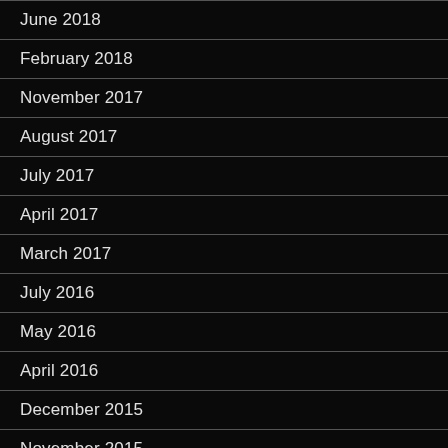June 2018
February 2018
November 2017
August 2017
July 2017
April 2017
March 2017
July 2016
May 2016
April 2016
December 2015
November 2015
September 2015